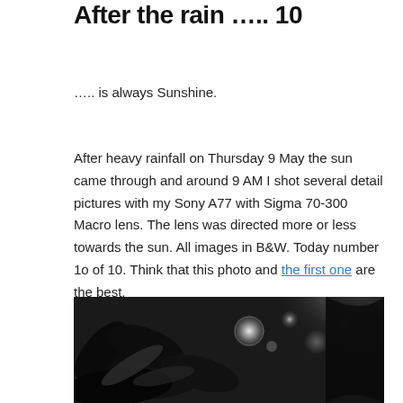After the rain ….. 10
….. is always Sunshine.
After heavy rainfall on Thursday 9 May the sun came through and around 9 AM I shot several detail pictures with my Sony A77 with Sigma 70-300 Macro lens. The lens was directed more or less towards the sun. All images in B&W. Today number 1o of 10. Think that this photo and the first one are the best.
[Figure (photo): Black and white close-up macro photograph of a succulent or flower with bokeh light circles in the background, the lens directed toward the sun creating bright out-of-focus highlights.]